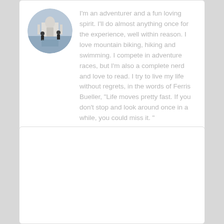[Figure (photo): Circular profile photo of two people jumping in front of the Taj Mahal]
I'm an adventurer and a fun loving spirit. I'll do almost anything once for the experience, well within reason. I love mountain biking, hiking and swimming. I compete in adventure races, but I'm also a complete nerd and love to read. I try to live my life without regrets, in the words of Ferris Bueller, "Life moves pretty fast. If you don't stop and look around once in a while, you could miss it. "